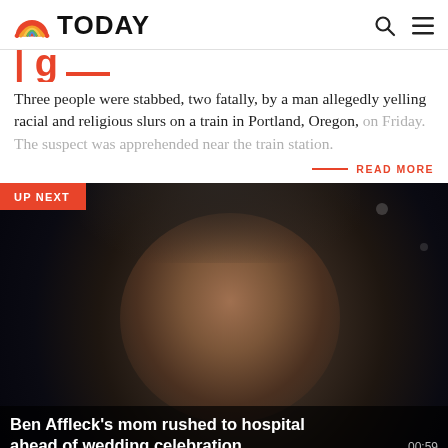TODAY
Three people were stabbed, two fatally, by a man allegedly yelling racial and religious slurs on a train in Portland, Oregon, on Friday. The suspect was apprehended near the train station.
READ MORE
[Figure (photo): Dark background photo of a man (Ben Affleck) with an 'UP NEXT' badge overlay and video title caption]
Ben Affleck's mom rushed to hospital ahead of wedding celebration
00:59